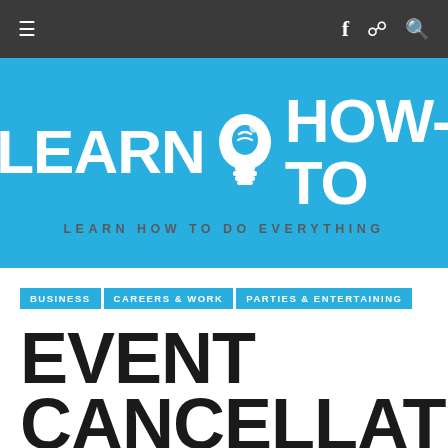≡   f  ⊃  🔍
[Figure (logo): Learn How-To website logo: white lightbulb icon between 'LEARN' and 'HOW-TO' text on blue background, with tagline 'LEARN HOW TO DO EVERYTHING']
BUSINESS | CAREERS & WORK | PARTIES & ENTERTAINING
EVENT CANCELLATION